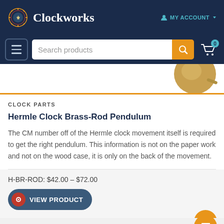Clockworks — MY ACCOUNT
[Figure (screenshot): Clockworks website header with logo, MY ACCOUNT link, hamburger menu, search bar, and cart icon]
[Figure (photo): Partial image of a brass pendulum bob against white background]
CLOCK PARTS
Hermle Clock Brass-Rod Pendulum
The CM number off of the Hermle clock movement itself is required to get the right pendulum. This information is not on the paper work and not on the wood case, it is only on the back of the movement.
H-BR-ROD: $42.00 – $72.00
VIEW PRODUCT